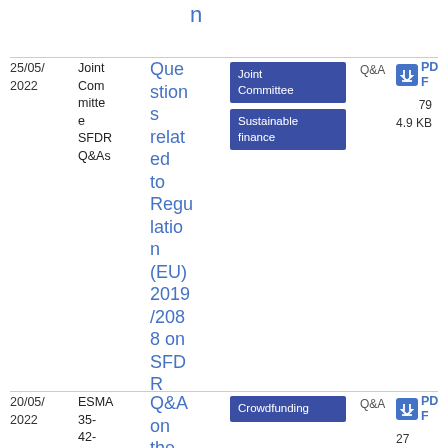n
| Date | Reference | Title | Tags | Type | Download |
| --- | --- | --- | --- | --- | --- |
| 25/05/
2022 | Joint Committee SFDR Q&As | Questions related to Regulation (EU) 2019/2088 on SFDR | Joint Committee | Sustainable finance | Q&A | PDF
79
4.9 KB |
| 20/05/
2022 | ESMA 35-42-1000… | Q&A on the… | Crowdfunding | Q&A | PDF
27 |